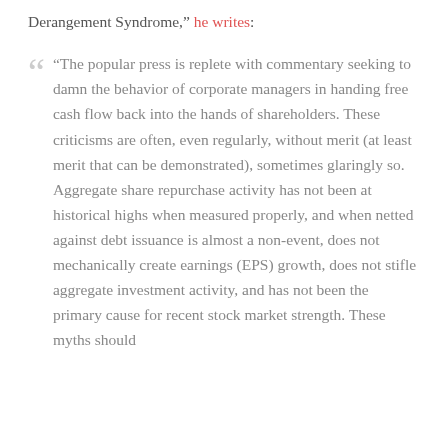Derangement Syndrome," he writes:
"The popular press is replete with commentary seeking to damn the behavior of corporate managers in handing free cash flow back into the hands of shareholders. These criticisms are often, even regularly, without merit (at least merit that can be demonstrated), sometimes glaringly so. Aggregate share repurchase activity has not been at historical highs when measured properly, and when netted against debt issuance is almost a non-event, does not mechanically create earnings (EPS) growth, does not stifle aggregate investment activity, and has not been the primary cause for recent stock market strength. These myths should